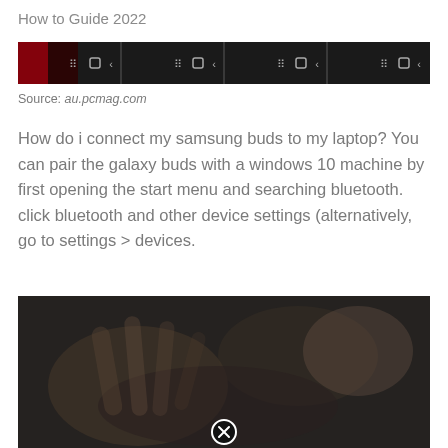How to Guide 2022
[Figure (screenshot): A horizontal strip of dark screenshots showing mobile navigation bars with icons (signal, square, back arrow) repeated four times side by side, with a small red area on the left panel.]
Source: au.pcmag.com
How do i connect my samsung buds to my laptop? You can pair the galaxy buds with a windows 10 machine by first opening the start menu and searching bluetooth. click bluetooth and other device settings (alternatively, go to settings > devices.
[Figure (photo): A dark, blurry close-up photograph showing what appears to be hands or fingers in low-key lighting with dark grey and brown tones. A circular close (X) button icon is visible near the bottom center.]